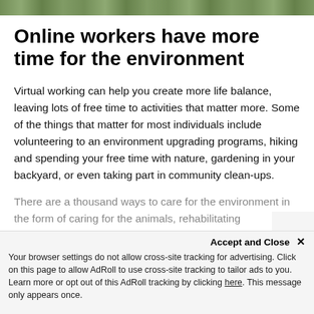[Figure (photo): Narrow photo strip showing foliage/nature scene at the top of the page]
Online workers have more time for the environment
Virtual working can help you create more life balance, leaving lots of free time to activities that matter more. Some of the things that matter for most individuals include volunteering to an environment upgrading programs, hiking and spending your free time with nature, gardening in your backyard, or even taking part in community clean-ups.
There are a thousand ways to care for the environment in the form of caring for the animals, rehabilitating ecosystems in addition to spreading the environment-friendly gospel to help others care for the enviro…
Accept and Close ✕
Your browser settings do not allow cross-site tracking for advertising. Click on this page to allow AdRoll to use cross-site tracking to tailor ads to you. Learn more or opt out of this AdRoll tracking by clicking here. This message only appears once.